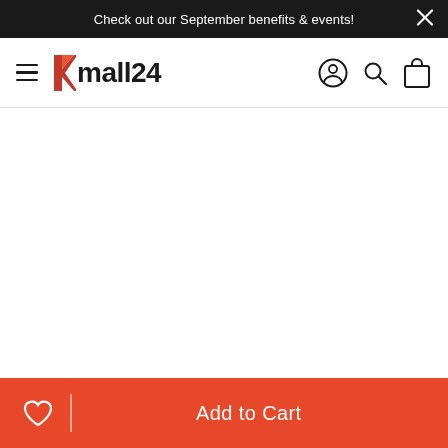Check out our September benefits & events!
[Figure (logo): kmall24 logo with red stylized K and black text 'mall24']
Add to Cart